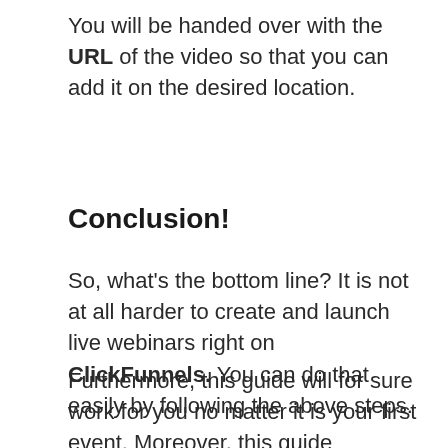You will be handed over with the URL of the video so that you can add it on the desired location.
Conclusion!
So, what's the bottom line? It is not at all harder to create and launch live webinars right on ClickFunnels. You can do that easily by following the above steps.
Furthermore, this guide will for sure work for you no matter it is your first event. Moreover, this guide promises that nothing will fall apart while you have your first